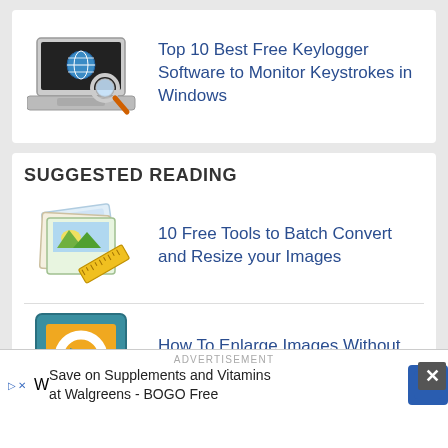[Figure (illustration): Laptop with magnifying glass icon for keylogger article]
Top 10 Best Free Keylogger Software to Monitor Keystrokes in Windows
SUGGESTED READING
[Figure (illustration): Stack of photos/images with ruler icon for batch convert article]
10 Free Tools to Batch Convert and Resize your Images
[Figure (logo): Teal and orange square logo with stylized arrow/G symbol for image enlarging article]
How To Enlarge Images Without Losing Quality or Pixelated
ADVERTISEMENT
Save on Supplements and Vitamins at Walgreens - BOGO Free